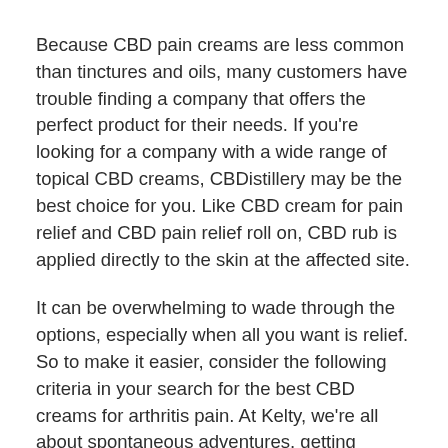Because CBD pain creams are less common than tinctures and oils, many customers have trouble finding a company that offers the perfect product for their needs. If you're looking for a company with a wide range of topical CBD creams, CBDistillery may be the best choice for you. Like CBD cream for pain relief and CBD pain relief roll on, CBD rub is applied directly to the skin at the affected site.
It can be overwhelming to wade through the options, especially when all you want is relief. So to make it easier, consider the following criteria in your search for the best CBD creams for arthritis pain. At Kelty, we're all about spontaneous adventures, getting outside, goofing around and having fun. Thanks to our new line of CBD products, we now offer another tool to help you go farther, higher, and faster...to dance harder, to bounce back, to think less and do more. Start with a smaller dose